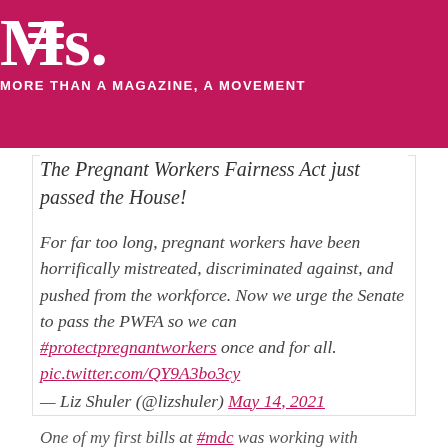Ms. MORE THAN A MAGAZINE, A MOVEMENT
The Pregnant Workers Fairness Act just passed the House!
For far too long, pregnant workers have been horrifically mistreated, discriminated against, and pushed from the workforce. Now we urge the Senate to pass the PWFA so we can #protectpregnantworkers once and for all. pic.twitter.com/QY9A3bo3cy
— Liz Shuler (@lizshuler) May 14, 2021
One of my first bills at #mdc was working with